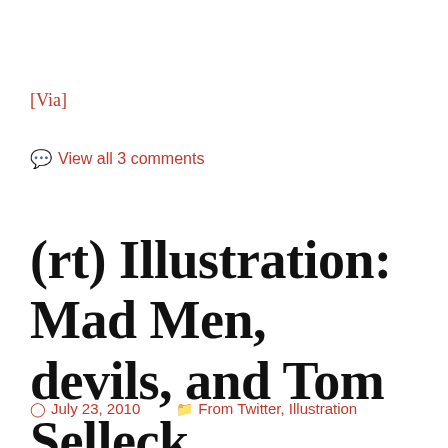[Via]
♥ View all 3 comments
(rt) Illustration: Mad Men, devils, and Tom Selleck
July 23, 2010   From Twitter, Illustration